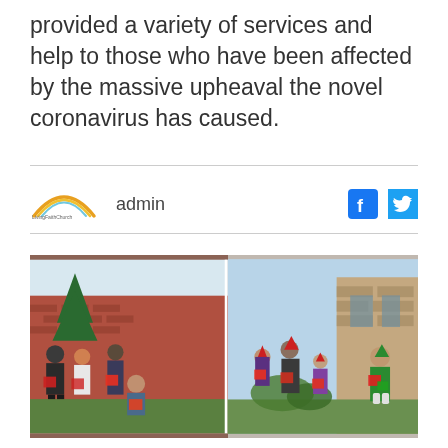provided a variety of services and help to those who have been affected by the massive upheaval the novel coronavirus has caused.
admin
[Figure (photo): Group of people standing outdoors in front of brick buildings, holding wrapped gift boxes and Christmas hampers. Some are wearing Christmas hats. The image appears to be a composite of two side-by-side photos.]